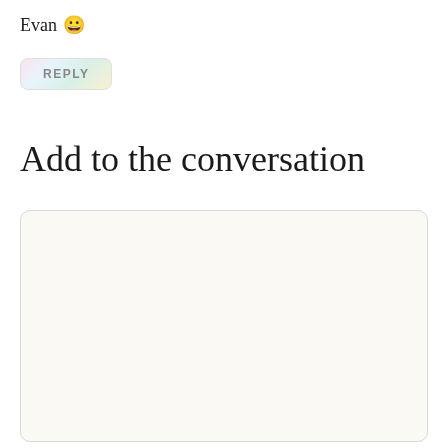Evan 😀
REPLY
Add to the conversation
[Figure (other): Empty text input area with off-white background and rounded border for adding a comment]